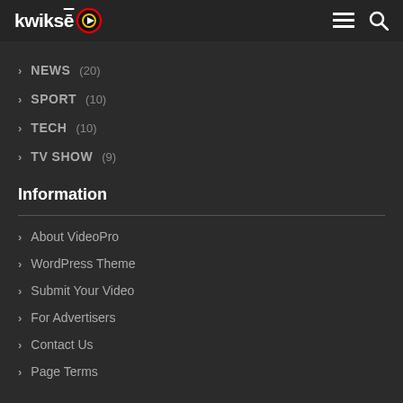kwiksē [logo] ≡ 🔍
> NEWS (20)
> SPORT (10)
> TECH (10)
> TV SHOW (9)
Information
> About VideoPro
> WordPress Theme
> Submit Your Video
> For Advertisers
> Contact Us
> Page Terms